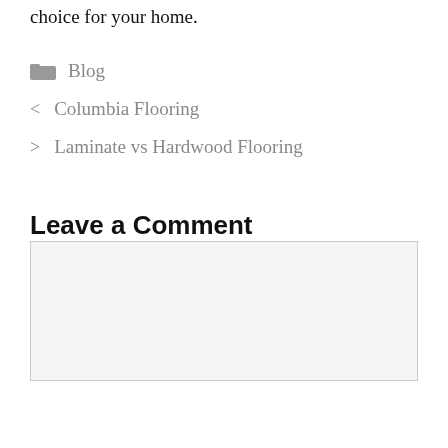choice for your home.
Blog
< Columbia Flooring
> Laminate vs Hardwood Flooring
Leave a Comment
[Comment text area]